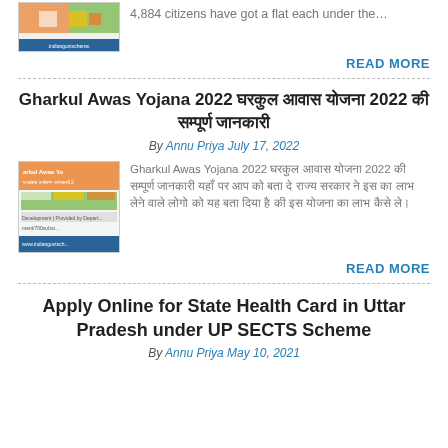[Figure (photo): Thumbnail image of indiangovtscheme website with colorful house/flat illustration]
4,884 citizens have got a flat each under the…
READ MORE
Gharkul Awas Yojana 2022 घरकुल आवास योजना 2022 की सम्पूर्ण जानकारी
By Annu Priya July 17, 2022
[Figure (photo): Thumbnail image of Gharkul Awas Yojana 2022 on indiangovtscheme website]
Gharkul Awas Yojana 2022 घरकुल आवास योजना 2022 की सम्पूर्ण जानकारी यहाँ पर आप को बता दे राज्य सरकार ने इस का लाभ लेने वाले लोगो को यह बता दिया है की इस योजना का लाभ कैसे ले।
READ MORE
Apply Online for State Health Card in Uttar Pradesh under UP SECTS Scheme
By Annu Priya May 10, 2021